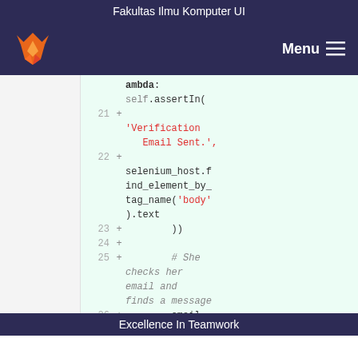Fakultas Ilmu Komputer UI
[Figure (screenshot): GitLab navigation bar with fox logo and Menu button on dark purple background]
Code diff view showing lines 21-26 with added lines: 'Verification Email Sent.', selenium_host.find_element_by_tag_name('body').text, )), # She checks her email and finds a message, email = mail.outbox[0]
Excellence In Teamwork